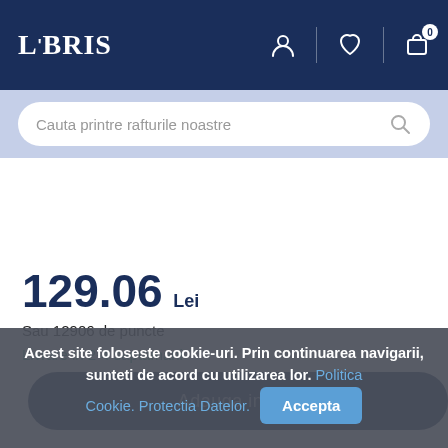LIBRIS
Cauta printre rafturile noastre
129.06 Lei
Sau 12906 de puncte
Livrare in 2-4 saptamani
Adauga in cos
Acest site foloseste cookie-uri. Prin continuarea navigarii, sunteti de acord cu utilizarea lor. Politica Cookie. Protectia Datelor. Accepta